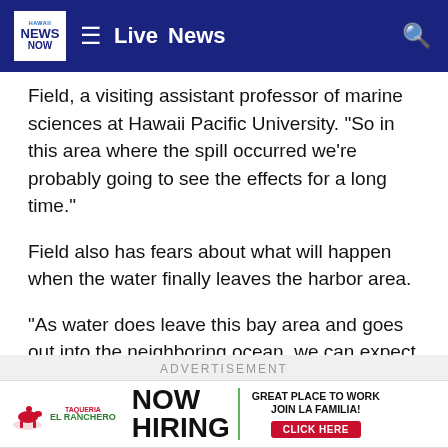Hawaii News Now — Live  News
Field, a visiting assistant professor of marine sciences at Hawaii Pacific University. "So in this area where the spill occurred we're probably going to see the effects for a long time."
Field also has fears about what will happen when the water finally leaves the harbor area.
"As water does leave this bay area and goes out into the neighboring ocean, we can expect the effects in the long term, in days, weeks, months and probably years, to spread out over some of the South Shore reefs," he said.
ADVERTISEMENT
[Figure (other): Advertisement banner for Taqueria El Ranchero: NOW HIRING — GREAT PLACE TO WORK JOIN LA FAMILIA! CLICK HERE]